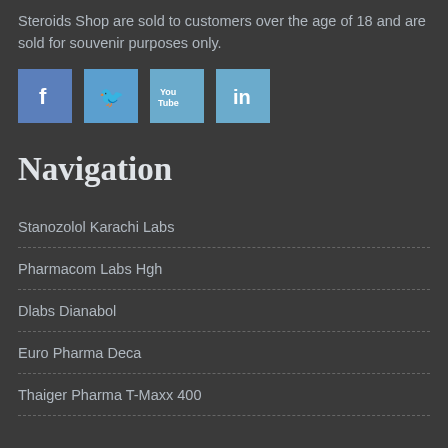Steroids Shop are sold to customers over the age of 18 and are sold for souvenir purposes only.
[Figure (other): Social media icons: Facebook, Twitter, YouTube, LinkedIn]
Navigation
Stanozolol Karachi Labs
Pharmacom Labs Hgh
Dlabs Dianabol
Euro Pharma Deca
Thaiger Pharma T-Maxx 400